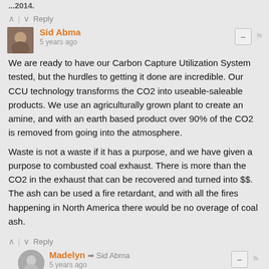...2014
^ | v Reply
Sid Abma
5 years ago
We are ready to have our Carbon Capture Utilization System tested, but the hurdles to getting it done are incredible. Our CCU technology transforms the CO2 into useable-saleable products. We use an agriculturally grown plant to create an amine, and with an earth based product over 90% of the CO2 is removed from going into the atmosphere.
Waste is not a waste if it has a purpose, and we have given a purpose to combusted coal exhaust. There is more than the CO2 in the exhaust that can be recovered and turned into $$. The ash can be used a fire retardant, and with all the fires happening in North America there would be no overage of coal ash.
^ | v Reply
Madelyn → Sid Abma
5 years ago
Thank you for commenting, Sid. I'm Madelyn Beck, one of the reporters who worked on the story. Your CCU system sounds